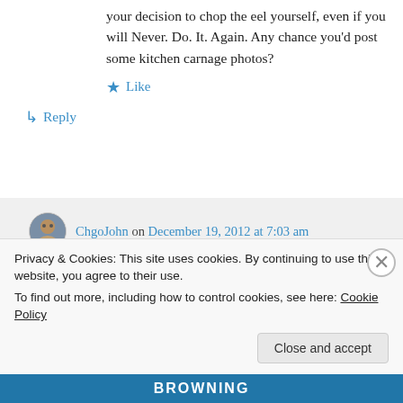your decision to chop the eel yourself, even if you will Never. Do. It. Again. Any chance you'd post some kitchen carnage photos?
★ Like
↳ Reply
ChgoJohn on December 19, 2012 at 7:03 am
Oh, Susan, I guess you had to be here to see just how impossible your request is. To
Privacy & Cookies: This site uses cookies. By continuing to use this website, you agree to their use.
To find out more, including how to control cookies, see here: Cookie Policy
Close and accept